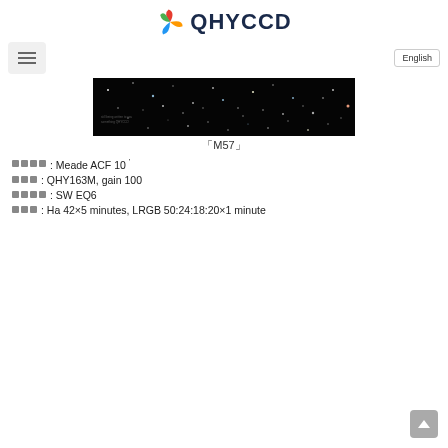QHYCCD
[Figure (photo): Wide-field astrophotography image of M57 (Ring Nebula field), black background with stars]
「M57」
望遠鏡: Meade ACF 10'
相機: QHY163M, gain 100
赤道儀: SW EQ6
曝光: Ha 42×5 minutes, LRGB 50:24:18:20×1 minute